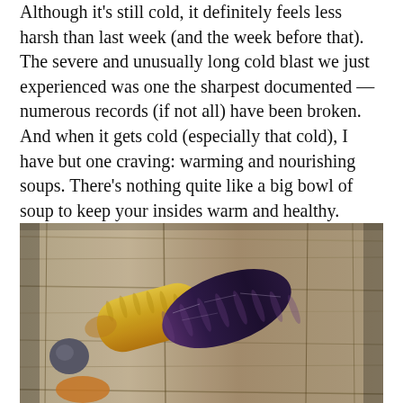Although it's still cold, it definitely feels less harsh than last week (and the week before that). The severe and unusually long cold blast we just experienced was one the sharpest documented — numerous records (if not all) have been broken. And when it gets cold (especially that cold), I have but one craving: warming and nourishing soups. There's nothing quite like a big bowl of soup to keep your insides warm and healthy.
[Figure (photo): Close-up photo of colorful heirloom carrots — a yellow/orange carrot and a dark purple/black carrot — resting on a weathered wooden surface.]